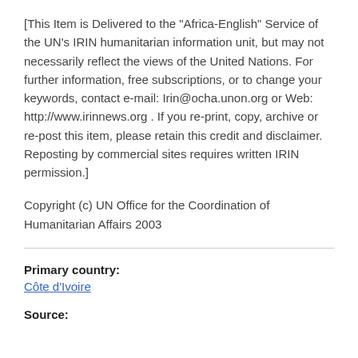[This Item is Delivered to the "Africa-English" Service of the UN's IRIN humanitarian information unit, but may not necessarily reflect the views of the United Nations. For further information, free subscriptions, or to change your keywords, contact e-mail: Irin@ocha.unon.org or Web: http://www.irinnews.org . If you re-print, copy, archive or re-post this item, please retain this credit and disclaimer. Reposting by commercial sites requires written IRIN permission.]
Copyright (c) UN Office for the Coordination of Humanitarian Affairs 2003
Primary country:
Côte d'Ivoire
Source: